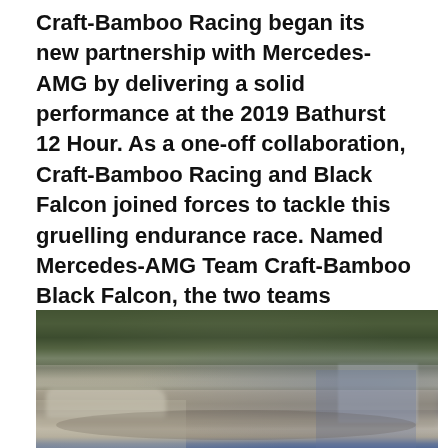Craft-Bamboo Racing began its new partnership with Mercedes-AMG by delivering a solid performance at the 2019 Bathurst 12 Hour. As a one-off collaboration, Craft-Bamboo Racing and Black Falcon joined forces to tackle this gruelling endurance race. Named Mercedes-AMG Team Craft-Bamboo Black Falcon, the two teams combined its efforts by integrating the team managers, engineers and mechanics to work in partnership, synergizing Black Falcons experience with the Mercedes-AMG GT3 and Craft-Bamboo Racing's long standing experience at the Bathurst 12 Hour.
[Figure (photo): A blurry outdoor photograph showing what appears to be a racing paddock or pit area with trees in the background, vehicles and structures visible, taken at the Bathurst 12 Hour event.]